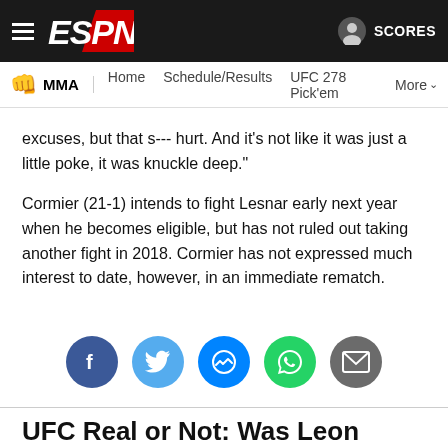ESPN MMA — Home | Schedule/Results | UFC 278 Pick'em | More | SCORES
excuses, but that s--- hurt. And it's not like it was just a little poke, it was knuckle deep."
Cormier (21-1) intends to fight Lesnar early next year when he becomes eligible, but has not ruled out taking another fight in 2018. Cormier has not expressed much interest to date, however, in an immediate rematch.
[Figure (infographic): Social sharing buttons: Facebook, Twitter, Messenger, WhatsApp, Email]
UFC Real or Not: Was Leon Edwards' win vs. Kamaru Usman